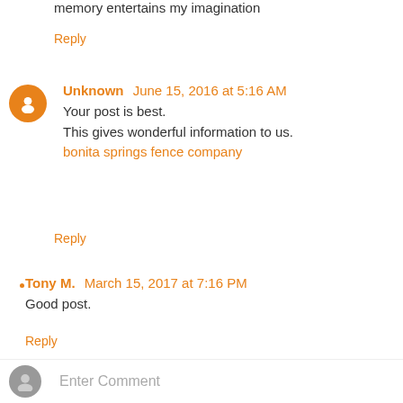memory entertains my imagination
Reply
Unknown  June 15, 2016 at 5:16 AM
Your post is best.
This gives wonderful information to us.
bonita springs fence company
Reply
Tony M.  March 15, 2017 at 7:16 PM
Good post.
Reply
Enter Comment